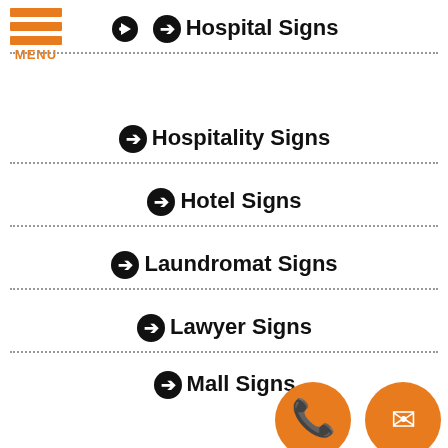[Figure (logo): Orange hamburger menu icon with three horizontal bars and MENU label]
Hospital Signs
Hospitality Signs
Hotel Signs
Laundromat Signs
Lawyer Signs
Mall Signs
Manufacturing Signs
New Business Signs
Nursery Signs
[Figure (illustration): Orange phone icon circle and orange mail envelope icon circle at bottom right]